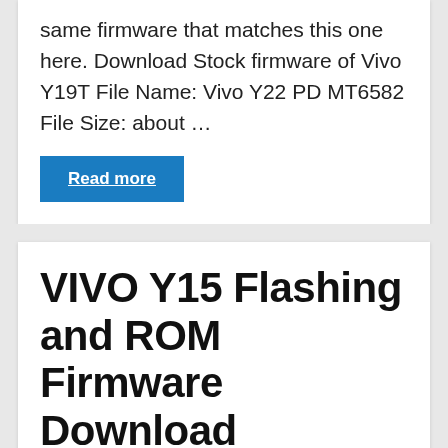same firmware that matches this one here. Download Stock firmware of Vivo Y19T File Name: Vivo Y22 PD MT6582 File Size: about …
Read more
VIVO Y15 Flashing and ROM Firmware Download
Do you have Vivo android Y15 that is bricked? Never worry, because on this